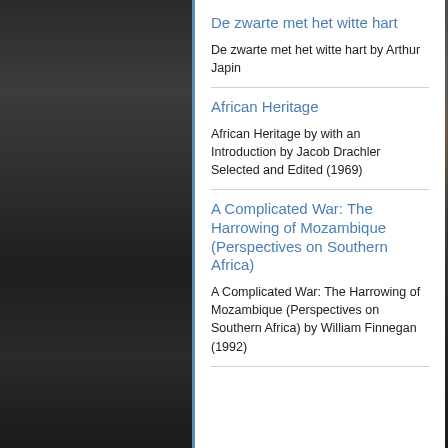De zwarte met het witte hart
De zwarte met het witte hart by Arthur Japin
African Heritage
African Heritage by with an Introduction by Jacob Drachler Selected and Edited (1969)
A Complicated War: The Harrowing of Mozambique (Perspectives on Southern Africa)
A Complicated War: The Harrowing of Mozambique (Perspectives on Southern Africa) by William Finnegan (1992)